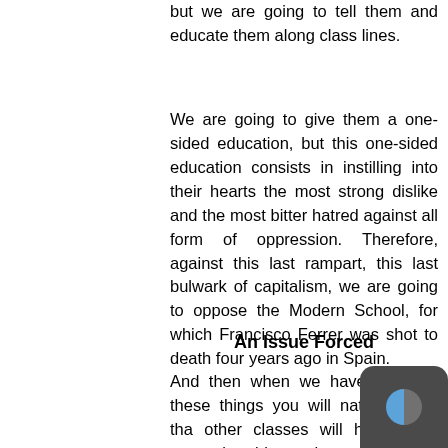but we are going to tell them and educate them along class lines.
We are going to give them a one-sided education, but this one-sided education consists in instilling into their hearts the most strong dislike and the most bitter hatred against all form of oppression. Therefore, against this last rampart, this last bulwark of capitalism, we are going to oppose the Modern School, for which Francisco Ferrer was shot to death four years ago in Spain.
An Issue Forced
And then when we have done all these things you will naturally see that other classes will have been compelled to take sides or issue either with one class